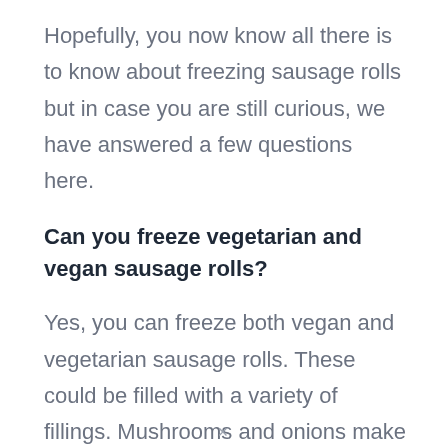Hopefully, you now know all there is to know about freezing sausage rolls but in case you are still curious, we have answered a few questions here.
Can you freeze vegetarian and vegan sausage rolls?
Yes, you can freeze both vegan and vegetarian sausage rolls. These could be filled with a variety of fillings. Mushrooms and onions make an excellent filling.
X